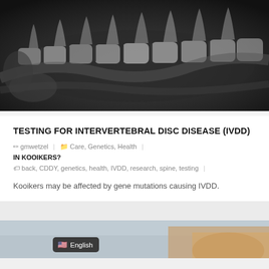[Figure (photo): X-ray image of a dog's spine showing vertebrae in lateral view, grayscale radiograph]
TESTING FOR INTERVERTEBRAL DISC DISEASE (IVDD)
gmwetzel | Care, Genetics, Health | IN KOOIKERS?
back, CDDY, genetics, health, IVDD, research, spine, testing |
Kooikers may be affected by gene mutations causing IVDD.
[Figure (photo): Partial photo strip at bottom showing a dog, with English language selector badge overlay]